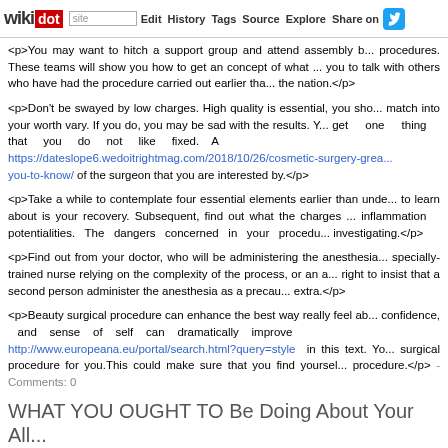wikidot | site | Edit | History | Tags | Source | Explore | Share on [Twitter]
<p>You may want to hitch a support group and attend assembly b... procedures. These teams will show you how to get an concept of what ... you to talk with others who have had the procedure carried out earlier tha... the nation.</p>
<p>Don't be swayed by low charges. High quality is essential, you sho... match into your worth vary. If you do, you may be sad with the results. Y... get one thing that you do not like fixed. A https://dateslope6.wedoitrightmag.com/2018/10/26/cosmetic-surgery-grea... you-to-know/ of the surgeon that you are interested by.</p>
<p>Take a while to contemplate four essential elements earlier than unde... to learn about is your recovery. Subsequent, find out what the charges ... inflammation potentialities. The dangers concerned in your procedu... investigating.</p>
<p>Find out from your doctor, who will be administering the anesthesia... specially-trained nurse relying on the complexity of the process, or an a... right to insist that a second person administer the anesthesia as a precau... extra.</p>
<p>Beauty surgical procedure can enhance the best way really feel ab... confidence, and sense of self can dramatically improve http://www.europeana.eu/portal/search.html?query=style in this text. Yo... surgical procedure for you.This could make sure that you find yoursel... procedure.</p> - Comments: 0
WHAT YOU OUGHT TO Be Doing About Your All...